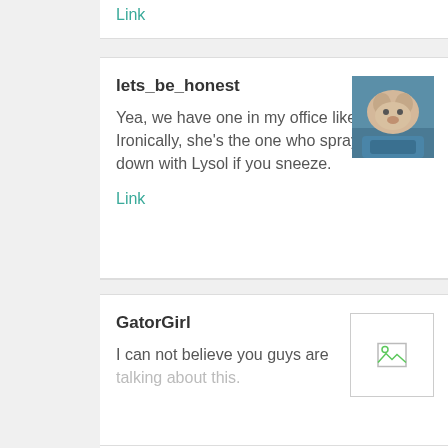Link
lets_be_honest
Yea, we have one in my office like that. Ironically, she's the one who sprays you down with Lysol if you sneeze.
Link
GatorGirl
I can not believe you guys are talking about this.